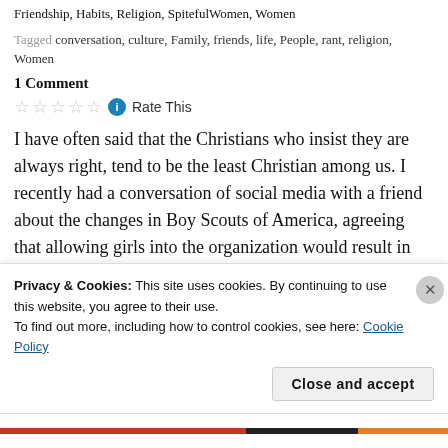Friendship, Habits, Religion, SpitefulWomen, Women
Tagged conversation, culture, Family, friends, life, People, rant, religion, Women
1 Comment
Rate This
I have often said that the Christians who insist they are always right, tend to be the least Christian among us. I recently had a conversation of social media with a friend about the changes in Boy Scouts of America, agreeing that allowing girls into the organization would result in the program becoming mediocre and would end the century long purpose of the BSA to
Privacy & Cookies: This site uses cookies. By continuing to use this website, you agree to their use.
To find out more, including how to control cookies, see here: Cookie Policy
Close and accept